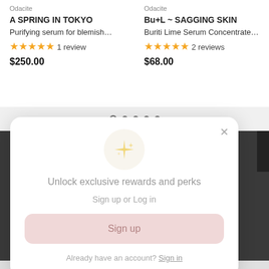Odacite
Odacite
A SPRING IN TOKYO
Purifying serum for blemish...
★★★★★ 1 review
$250.00
Bu+L ~ SAGGING SKIN
Buriti Lime Serum Concentrate...
★★★★★ 2 reviews
$68.00
[Figure (screenshot): Pagination dots: one empty circle and four filled dark circles]
[Figure (infographic): Modal popup with sparkle star icon, title 'Unlock exclusive rewards and perks', subtitle 'Sign up or Log in', a pink Sign up button, and 'Already have an account? Sign in' link]
Unlock exclusive rewards and perks
Sign up or Log in
Sign up
Already have an account? Sign in